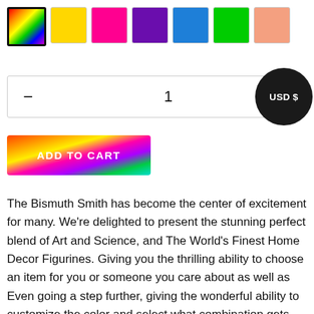[Figure (other): Color swatch selector with 7 swatches: rainbow gradient (selected/outlined), yellow, magenta/pink, purple, blue, green, salmon/peach]
[Figure (other): Quantity selector row showing minus button, quantity 1, and USD $ currency button (black circle)]
[Figure (other): Add to Cart button with rainbow gradient background]
The Bismuth Smith has become the center of excitement for many. We're delighted to present the stunning perfect blend of Art and Science, and The World's Finest Home Decor Figurines. Giving you the thrilling ability to choose an item for you or someone you care about as well as Even going a step further, giving the wonderful ability to customize the color and select what combination gets you the most excited When You order something for yourself, or